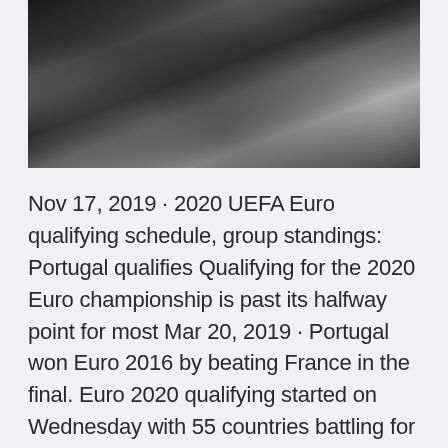[Figure (photo): Black and white close-up photograph of grass and ground, showing blurred bokeh effect with dark and light tones.]
Nov 17, 2019 · 2020 UEFA Euro qualifying schedule, group standings: Portugal qualifies Qualifying for the 2020 Euro championship is past its halfway point for most Mar 20, 2019 · Portugal won Euro 2016 by beating France in the final. Euro 2020 qualifying started on Wednesday with 55 countries battling for 20 spaces at the tournament next year. HELP: EURO 2021 (EURO 2020) results page belongs to the Football/Europe section of FlashScore.co.uk.